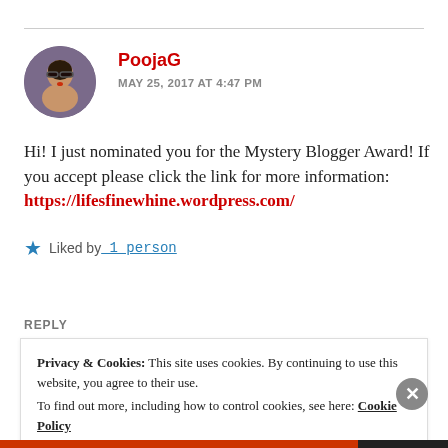[Figure (photo): Circular avatar photo of PoojaG, a person wearing glasses with red lipstick]
PoojaG
MAY 25, 2017 AT 4:47 PM
Hi! I just nominated you for the Mystery Blogger Award! If you accept please click the link for more information: https://lifesfinewhine.wordpress.com/
Liked by 1 person
REPLY
Privacy & Cookies: This site uses cookies. By continuing to use this website, you agree to their use.
To find out more, including how to control cookies, see here: Cookie Policy
Close and accept